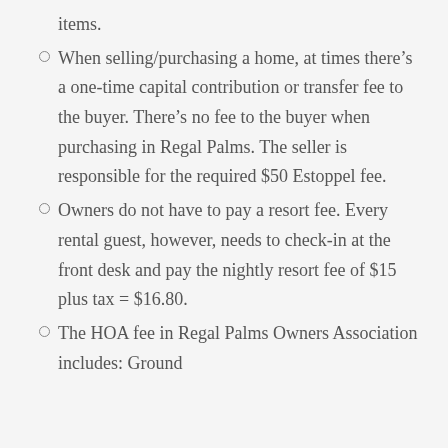items.
When selling/purchasing a home, at times there’s a one-time capital contribution or transfer fee to the buyer. There’s no fee to the buyer when purchasing in Regal Palms. The seller is responsible for the required $50 Estoppel fee.
Owners do not have to pay a resort fee. Every rental guest, however, needs to check-in at the front desk and pay the nightly resort fee of $15 plus tax = $16.80.
The HOA fee in Regal Palms Owners Association includes: Ground